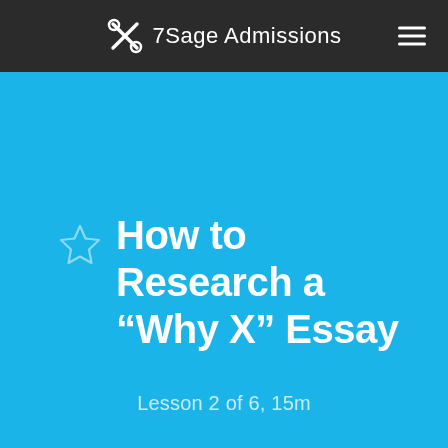7Sage Admissions
How to Research a “Why X” Essay
Lesson 2 of 6, 15m